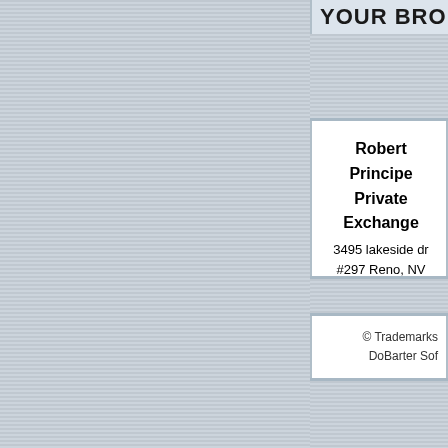YOUR BRO
Robert Principe Private Exchange
3495 lakeside dr #297 Reno, NV 89509
Click Here to Email Robert Principe
Phone 775-842-3983
Authorizations ONLY 866-334-1265
Software HELP Bobbi Vickers 931-227-HELP (4357)
© Trademarks DoBarter Sof